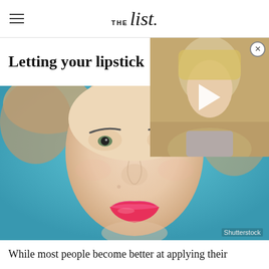THE list.
Letting your lipstick
[Figure (photo): Video thumbnail overlay showing a blonde woman, with a play button icon and close button]
[Figure (photo): Close-up portrait of a young woman with green eyes and bold pink/hot pink lipstick against a teal/blue background, with Shutterstock watermark]
While most people become better at applying their